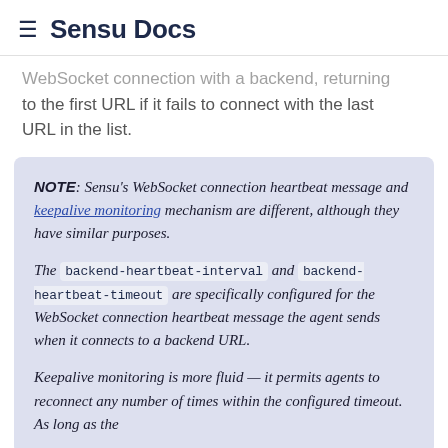≡ Sensu Docs
WebSocket connection with a backend, returning to the first URL if it fails to connect with the last URL in the list.
NOTE: Sensu's WebSocket connection heartbeat message and keepalive monitoring mechanism are different, although they have similar purposes.

The backend-heartbeat-interval and backend-heartbeat-timeout are specifically configured for the WebSocket connection heartbeat message the agent sends when it connects to a backend URL.

Keepalive monitoring is more fluid — it permits agents to reconnect any number of times within the configured timeout. As long as the